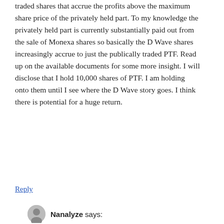traded shares that accrue the profits above the maximum share price of the privately held part. To my knowledge the privately held part is currently substantially paid out from the sale of Monexa shares so basically the D Wave shares increasingly accrue to just the publically traded PTF. Read up on the available documents for some more insight. I will disclose that I hold 10,000 shares of PTF. I am holding onto them until I see where the D Wave story goes. I think there is potential for a huge return.
Reply
Nanalyze says: